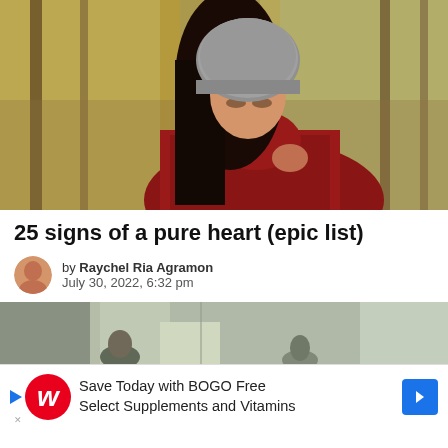[Figure (photo): Woman with dark hair wearing a grey knit beanie hat and red cable-knit turtleneck sweater, looking downward, with blurred autumn trees in the background]
25 signs of a pure heart (epic list)
by Raychel Ria Agramon
July 30, 2022, 6:32 pm
[Figure (photo): Indoor scene with people, partially visible, greenery outside window]
Save Today with BOGO Free Select Supplements and Vitamins